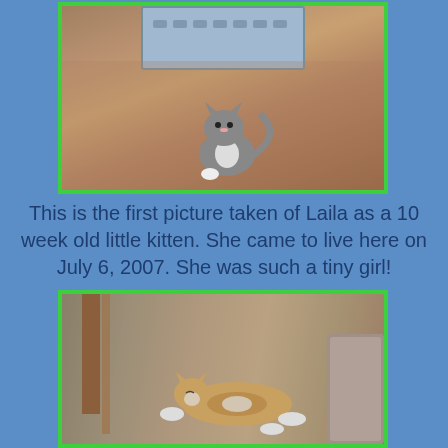[Figure (photo): A small gray and white kitten sitting on brown carpet in front of a blue plastic pet carrier crate, looking up at the camera.]
This is the first picture taken of Laila as a 10 week old little kitten. She came to live here on July 6, 2007. She was such a tiny girl!
[Figure (photo): A calico/tabby cat lying stretched out on brown carpet between furniture legs, seen from above.]